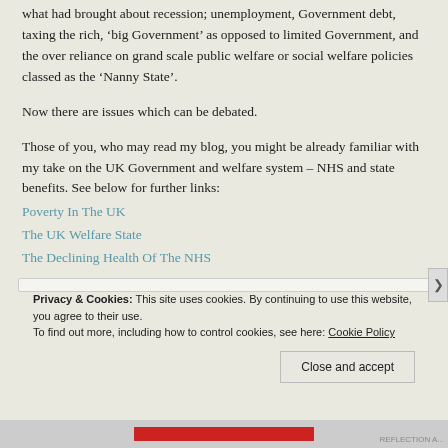what had brought about recession; unemployment, Government debt, taxing the rich, ‘big Government’ as opposed to limited Government, and the over reliance on grand scale public welfare or social welfare policies classed as the ‘Nanny State’.
Now there are issues which can be debated.
Those of you, who may read my blog, you might be already familiar with my take on the UK Government and welfare system – NHS and state benefits. See below for further links:
Poverty In The UK
The UK Welfare State
The Declining Health Of The NHS
Privacy & Cookies: This site uses cookies. By continuing to use this website, you agree to their use. To find out more, including how to control cookies, see here: Cookie Policy
Close and accept